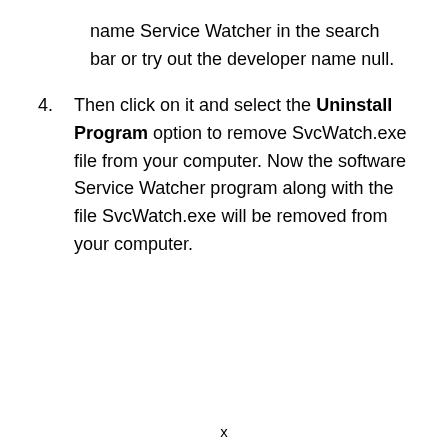name Service Watcher in the search bar or try out the developer name null.
4. Then click on it and select the Uninstall Program option to remove SvcWatch.exe file from your computer. Now the software Service Watcher program along with the file SvcWatch.exe will be removed from your computer.
x